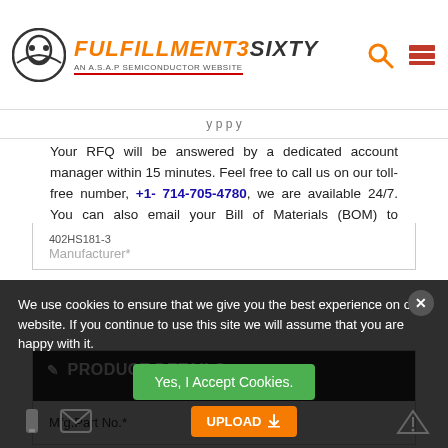[Figure (logo): Fulfillment3sixty logo - orange italic text with robot/figure icon, subtitle: AN A.S.A.P SEMICONDUCTOR WEBSITE]
Your RFQ will be answered by a dedicated account manager within 15 minutes. Feel free to call us on our toll-free number, +1- 714-705-4780, we are available 24/7. You can also email your Bill of Materials (BOM) to sales@fulfillment3sixty.com to expedite the purchasing process.
PRODUCT DETAILS
"*" Symbols for mandatory fields
Mfg.Part No.*
Manufacturer*
We use cookies to ensure that we give you the best experience on our website. If you continue to use this site we will assume that you are happy with it.